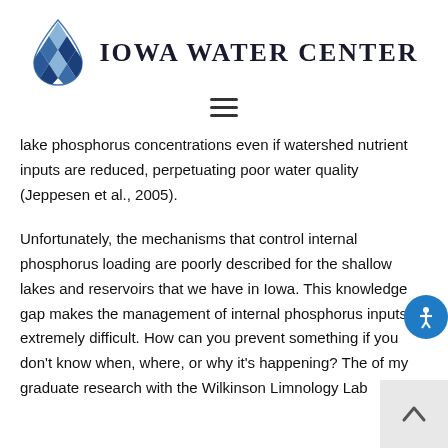[Figure (logo): Iowa Water Center logo with a blue water drop icon composed of diamond shapes and the text 'Iowa Water Center' in dark uppercase serif font]
[Figure (other): Hamburger menu icon with three horizontal lines]
lake phosphorus concentrations even if watershed nutrient inputs are reduced, perpetuating poor water quality (Jeppesen et al., 2005).
Unfortunately, the mechanisms that control internal phosphorus loading are poorly described for the shallow lakes and reservoirs that we have in Iowa. This knowledge gap makes the management of internal phosphorus inputs extremely difficult. How can you prevent something if you don't know when, where, or why it's happening? The of my graduate research with the Wilkinson Limnology Lab